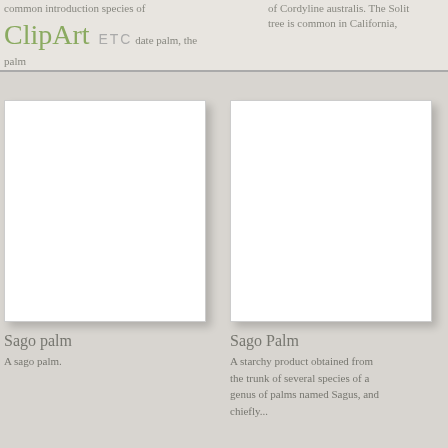ClipArt ETC
common introduction species of ... date palm, the palm
of Cordyline australis. The Solitair tree is common in California,
[Figure (illustration): Blank white image placeholder for Sago palm clipart]
Sago palm
A sago palm.
[Figure (illustration): Blank white image placeholder for Sago Palm clipart]
Sago Palm
A starchy product obtained from the trunk of several species of a genus of palms named Sagus, and chiefly...